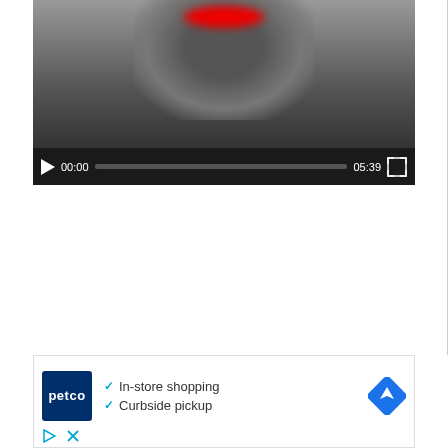[Figure (screenshot): Video player showing a black-and-white image of a person with red blurred shape over face area. Video controls show play button, current time 00:00, progress bar, total time 05:39, and fullscreen button.]
[Figure (screenshot): Petco advertisement banner showing Petco logo, checkmarks listing 'In-store shopping' and 'Curbside pickup', a blue navigation/directions icon, and ad control icons (play triangle and X close button) at the bottom left.]